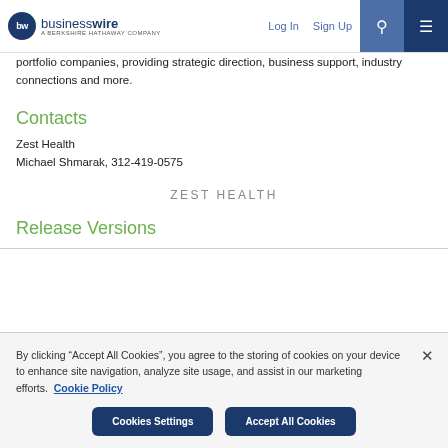businesswire — A BERKSHIRE HATHAWAY COMPANY | Log In | Sign Up
portfolio companies, providing strategic direction, business support, industry connections and more.
Contacts
Zest Health
Michael Shmarak, 312-419-0575
ZEST HEALTH
Release Versions
By clicking "Accept All Cookies", you agree to the storing of cookies on your device to enhance site navigation, analyze site usage, and assist in our marketing efforts. Cookie Policy
Cookies Settings | Accept All Cookies